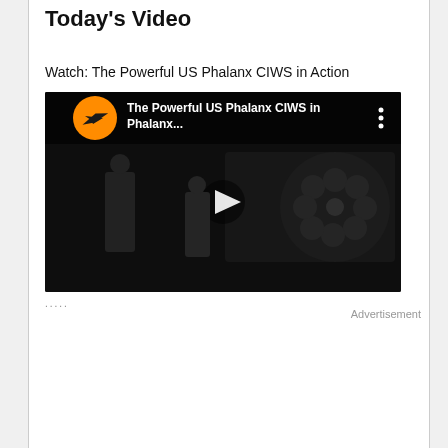Today's Video
Watch: The Powerful US Phalanx CIWS in Action
[Figure (screenshot): YouTube video thumbnail showing 'The Powerful US Phalanx CIWS in Action' with a dark overlay, two service members near the Phalanx weapon system, play button in center, orange channel logo icon top-left, three-dot menu top-right]
.....
Advertisement